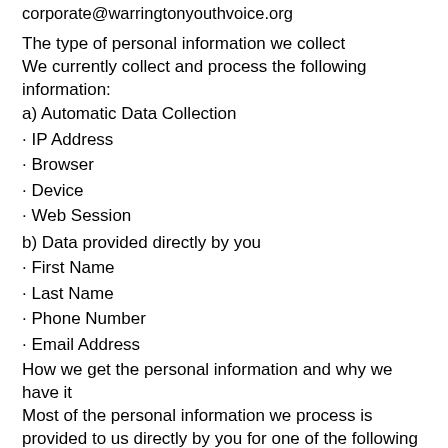corporate@warringtonyouthvoice.org
The type of personal information we collect
We currently collect and process the following information:
a) Automatic Data Collection
· IP Address
· Browser
· Device
· Web Session
b) Data provided directly by you
· First Name
· Last Name
· Phone Number
· Email Address
How we get the personal information and why we have it
Most of the personal information we process is provided to us directly by you for one of the following reasons:
·       To improve our website and or services
·     To contact you
·   For marketing purposes
We may share this information with third